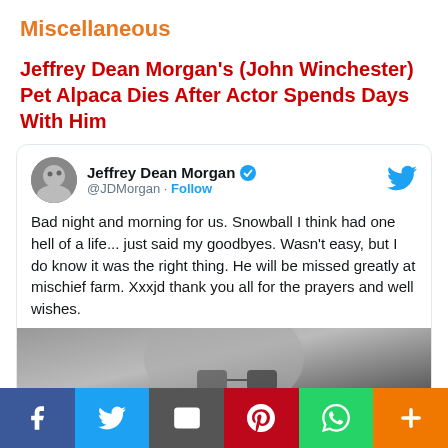Miscellaneous
Jeffrey Dean Morgan's (John Winchester) Pet Alpaca Dies After Actor Spends Days With Him
[Figure (screenshot): Embedded tweet from @JDMorgan (Jeffrey Dean Morgan) with verified badge, reading: 'Bad night and morning for us. Snowball I think had one hell of a life... just said my goodbyes. Wasn't easy, but I do know it was the right thing. He will be missed greatly at mischief farm. Xxxjd thank you all for the prayers and well wishes.' Tweet includes a black and white photo of a man with glasses.]
Social share bar: Facebook, Twitter, Email, Pinterest, WhatsApp, More